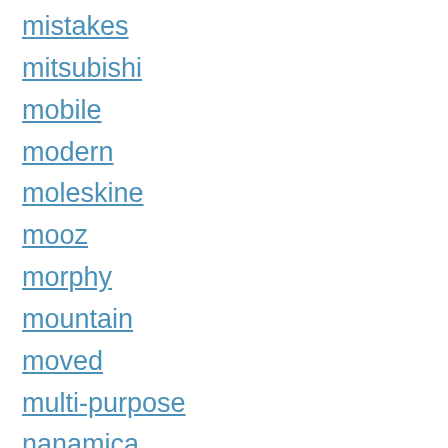mistakes
mitsubishi
mobile
modern
moleskine
mooz
morphy
mountain
moved
multi-purpose
nanamica
naturehike
navara
nice
nissan
norseman
north